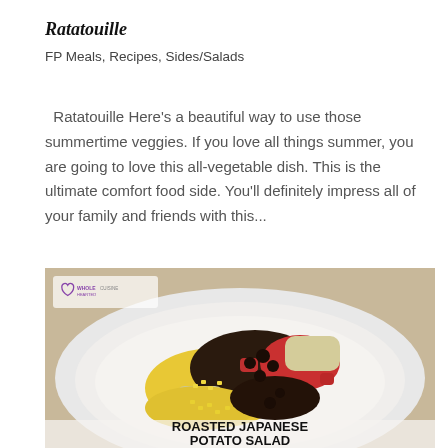Ratatouille
FP Meals, Recipes, Sides/Salads
Ratatouille Here's a beautiful way to use those summertime veggies. If you love all things summer, you are going to love this all-vegetable dish. This is the ultimate comfort food side. You'll definitely impress all of your family and friends with this...
[Figure (photo): A white plate filled with roasted Japanese potato salad containing black beans, corn, red peppers, and potato chunks, with a 'Whole Hearted' logo watermark in the top left, and text at the bottom reading 'ROASTED JAPANESE POTATO SALAD']